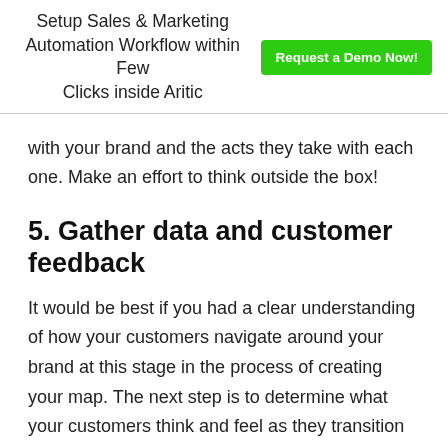Setup Sales & Marketing Automation Workflow within Few Clicks inside Aritic  Request a Demo Now!
with your brand and the acts they take with each one. Make an effort to think outside the box!
5. Gather data and customer feedback
It would be best if you had a clear understanding of how your customers navigate around your brand at this stage in the process of creating your map. The next step is to determine what your customers think and feel as they transition from one